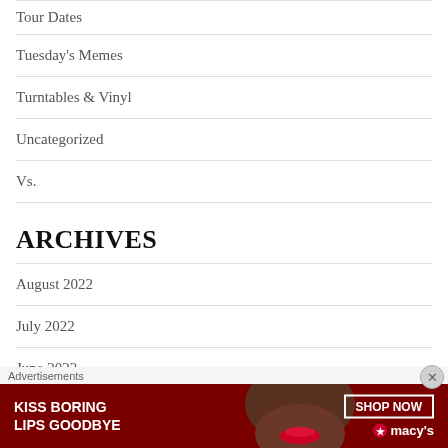Tour Dates
Tuesday's Memes
Turntables & Vinyl
Uncategorized
Vs.
Archives
August 2022
July 2022
June 2022
May 2022
[Figure (illustration): Macy's advertisement banner reading 'KISS BORING LIPS GOODBYE' with a woman's face and red lips, SHOP NOW button, and Macy's star logo]